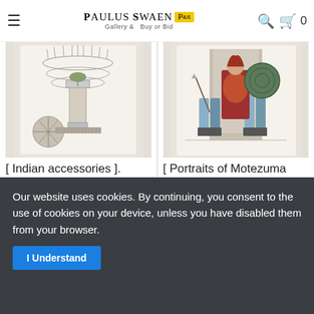Paulus Swaen Gallery & Buy or Bid
[Figure (illustration): Engraving of Indian accessories including feathered headdresses, a decorated pedestal/urn, and a spherical object, shown on white background.]
[ Indian accessories ].
$120 / = €114
Publisher: FERRARIO, G.
Date: Milan, 1827
[Figure (illustration): Colored engraving of Portraits of Motezuma, showing figures in historical dress with armor and shields.]
[ Portraits of Motezuma
$120 / = €114
Publisher: FERRARIO, G.
Date: Milan, 1827
Our website uses cookies. By continuing, you consent to the use of cookies on your device, unless you have disabled them from your browser.
I Understand